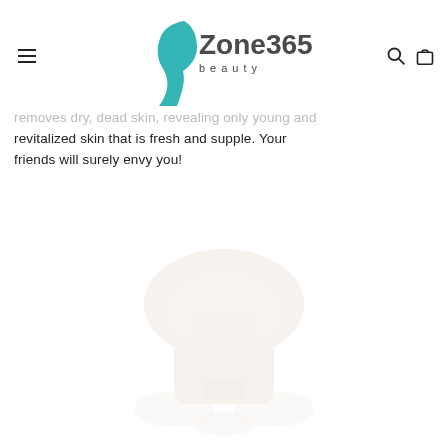Zone365 beauty — navigation header with logo, menu, search, and cart icons
removes dry, dead skin, revealing only young and revitalized skin that is fresh and supple. Your friends will surely envy you!
[Figure (photo): Faded/ghosted product image (beauty/skincare product) in lower half of page, appearing very light against white background]